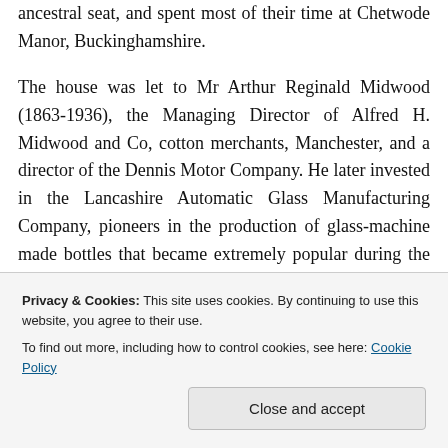ancestral seat, and spent most of their time at Chetwode Manor, Buckinghamshire.
The house was let to Mr Arthur Reginald Midwood (1863-1936), the Managing Director of Alfred H. Midwood and Co, cotton merchants, Manchester, and a director of the Dennis Motor Company. He later invested in the Lancashire Automatic Glass Manufacturing Company, pioneers in the production of glass-machine made bottles that became extremely popular during the new century. After he left Oakley Hall, Midwood went to live at Oakmere Hall in Cheshire, and died in Sydney, New South Wales, in
called H. Dennis and Co, sal copper and charter
Privacy & Cookies: This site uses cookies. By continuing to use this website, you agree to their use.
To find out more, including how to control cookies, see here: Cookie Policy
Close and accept